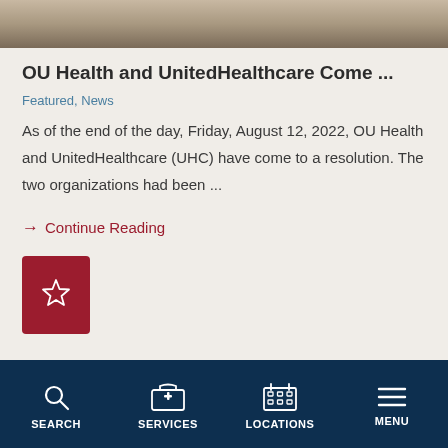[Figure (photo): Partial photo of people, cropped at top of page]
OU Health and UnitedHealthcare Come ...
Featured, News
As of the end of the day, Friday, August 12, 2022, OU Health and UnitedHealthcare (UHC) have come to a resolution. The two organizations had been ...
→ Continue Reading
[Figure (other): Dark red/maroon button with star icon]
SEARCH   SERVICES   LOCATIONS   MENU